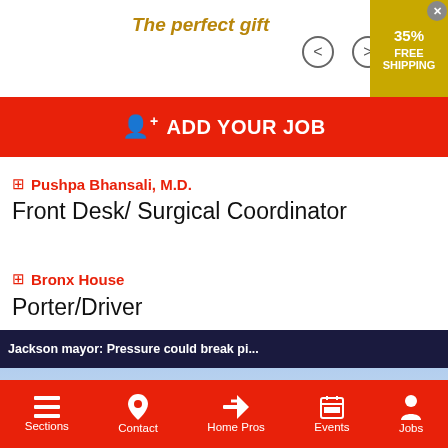[Figure (screenshot): Ad banner showing 'The perfect gift' in gold italic text with left/right navigation arrows and a gold promo badge showing 35% FREE SHIPPING with a close button]
ADD YOUR JOB
Pushpa Bhansali, M.D.
Front Desk/ Surgical Coordinator
Bronx House
Porter/Driver
[Figure (screenshot): News video popup overlay: 'Jackson mayor: Pressure could break pi...' with an outdoor crowd scene photo and a yellow mute button]
Slope Green Finance
Sections  Contact  Home Pros  Events  Jobs